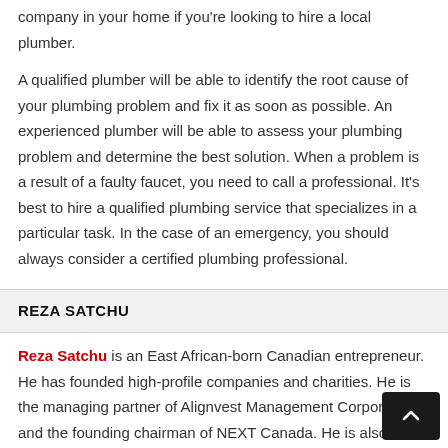company in your home if you're looking to hire a local plumber.
A qualified plumber will be able to identify the root cause of your plumbing problem and fix it as soon as possible. An experienced plumber will be able to assess your plumbing problem and determine the best solution. When a problem is a result of a faulty faucet, you need to call a professional. It's best to hire a qualified plumbing service that specializes in a particular task. In the case of an emergency, you should always consider a certified plumbing professional.
REZA SATCHU
Reza Satchu is an East African-born Canadian entrepreneur. He has founded high-profile companies and charities. He is the managing partner of Alignvest Management Corporation and the founding chairman of NEXT Canada. He is also a senior lecturer at Harvard